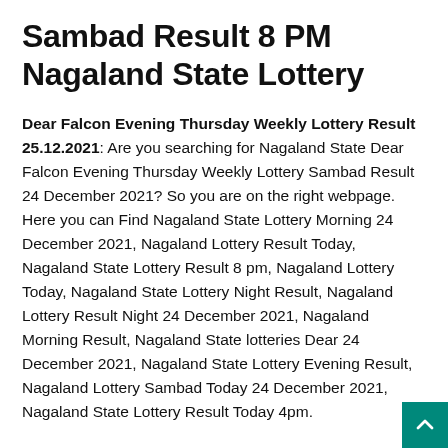Sambad Result 8 PM Nagaland State Lottery
Dear Falcon Evening Thursday Weekly Lottery Result 25.12.2021: Are you searching for Nagaland State Dear Falcon Evening Thursday Weekly Lottery Sambad Result 24 December 2021? So you are on the right webpage. Here you can Find Nagaland State Lottery Morning 24 December 2021, Nagaland Lottery Result Today, Nagaland State Lottery Result 8 pm, Nagaland Lottery Today, Nagaland State Lottery Night Result, Nagaland Lottery Result Night 24 December 2021, Nagaland Morning Result, Nagaland State lotteries Dear 24 December 2021, Nagaland State Lottery Evening Result, Nagaland Lottery Sambad Today 24 December 2021, Nagaland State Lottery Result Today 4pm.
Nagaland State's “Dear Falcon Evening” Lottery Sambad Result of 24 December 2021 is published exclusively on this webpage. O